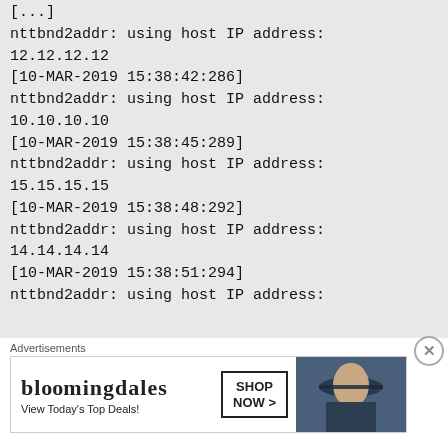[...]
nttbnd2addr: using host IP address:
12.12.12.12
[10-MAR-2019 15:38:42:286]
nttbnd2addr: using host IP address:
10.10.10.10
[10-MAR-2019 15:38:45:289]
nttbnd2addr: using host IP address:
15.15.15.15
[10-MAR-2019 15:38:48:292]
nttbnd2addr: using host IP address:
14.14.14.14
[10-MAR-2019 15:38:51:294]
nttbnd2addr: using host IP address:
[Figure (screenshot): Bloomingdale's advertisement banner with text 'View Today's Top Deals!' and a 'SHOP NOW >' button, featuring an image of a woman with a hat.]